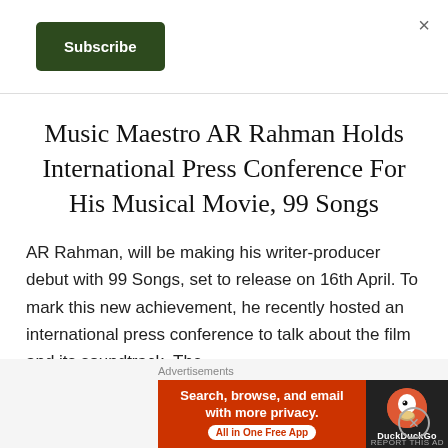×
Subscribe
Music Maestro AR Rahman Holds International Press Conference For His Musical Movie, 99 Songs
AR Rahman, will be making his writer-producer debut with 99 Songs, set to release on 16th April. To mark this new achievement, he recently hosted an international press conference to talk about the film and its soundtrack. The
[Figure (screenshot): DuckDuckGo advertisement banner: orange left panel with text 'Search, browse, and email with more privacy. All in One Free App' and dark right panel with DuckDuckGo logo and name.]